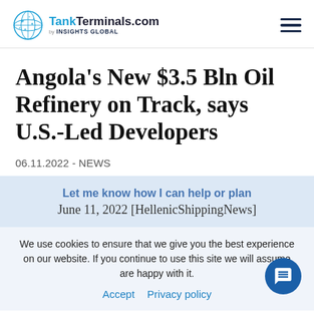TankTerminals.com by INSIGHTS GLOBAL
Angola's New $3.5 Bln Oil Refinery on Track, says U.S.-Led Developers
06.11.2022 - NEWS
Let me know how I can help or plan
June 11, 2022 [HelleniShippingNews]
We use cookies to ensure that we give you the best experience on our website. If you continue to use this site we will assume are happy with it.
Accept   Privacy policy